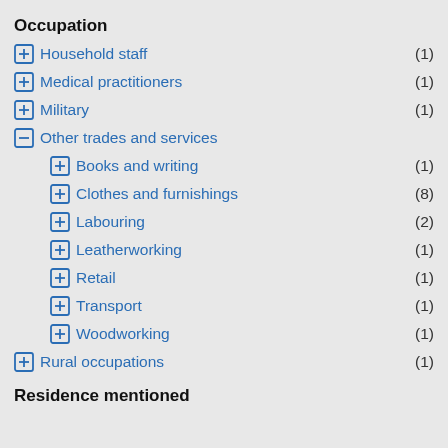Occupation
Household staff (1)
Medical practitioners (1)
Military (1)
Other trades and services
Books and writing (1)
Clothes and furnishings (8)
Labouring (2)
Leatherworking (1)
Retail (1)
Transport (1)
Woodworking (1)
Rural occupations (1)
Residence mentioned